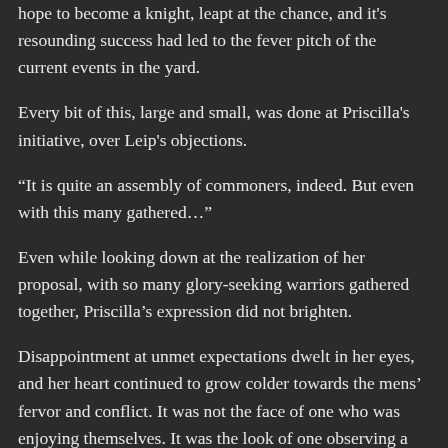hope to become a knight, leapt at the chance, and it's resounding success had led to the fever pitch of the current events in the yard.
Every bit of this, large and small, was done at Priscilla's initiative, over Leip's objections.
“It is quite an assembly of commoners, indeed. But even with this many gathered…”
Even while looking down at the realization of her proposal, with so many glory-seeking warriors gathered together, Priscilla’s expression did not brighten.
Disappointment at unmet expectations dwelt in her eyes, and her heart continued to grow colder towards the mens’ fervor and conflict. It was not the face of one who was enjoying themselves. It was the look of one observing a barnyard territorial dispute.